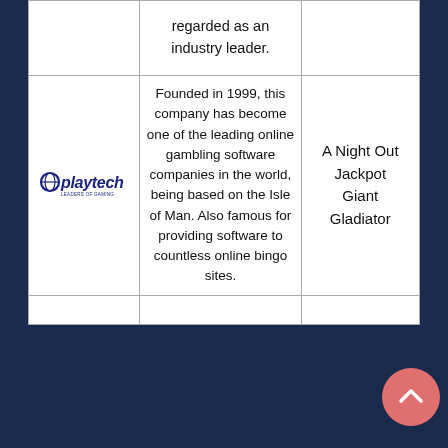| Logo | Description | Games |
| --- | --- | --- |
|  | regarded as an industry leader. |  |
| [Playtech logo] | Founded in 1999, this company has become one of the leading online gambling software companies in the world, being based on the Isle of Man. Also famous for providing software to countless online bingo sites. | A Night Out Jackpot Giant Gladiator |
|  |  |  |